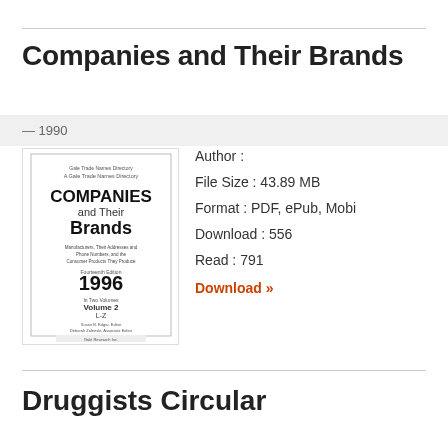Companies and Their Brands
— 1990
[Figure (illustration): Book cover of Companies and Their Brands, Fourteenth Edition 1996, Volume 2 L-Z, Gale Research Inc.]
Author :
File Size : 43.89 MB
Format : PDF, ePub, Mobi
Download : 556
Read : 791
Download »
Druggists Circular